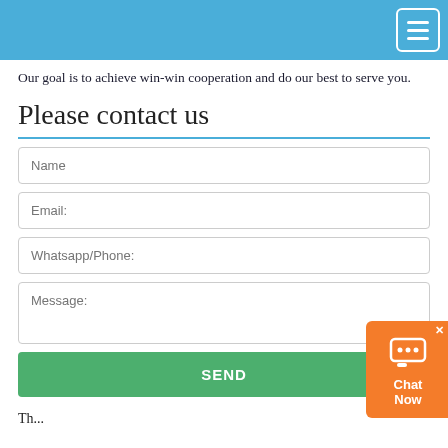Our goal is to achieve win-win cooperation and do our best to serve you.
Please contact us
[Figure (other): Contact form with fields: Name, Email:, Whatsapp/Phone:, Message:, and a SEND button]
Th...
[Figure (infographic): Chat Now widget — orange box with chat bubble icon, X close button, and 'Chat Now' label]